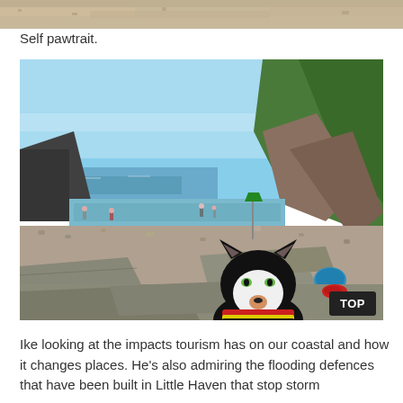[Figure (photo): Top strip of a sandy/rocky surface — partial photo cropped at the top of the page]
Self pawtrait.
[Figure (photo): A stuffed black cat toy (Ike) sitting on rocks at a pebble beach with people, water, and a green coastal hillside visible in the background on a sunny day. A blue bag and other beachgoers are visible.]
Ike looking at the impacts tourism has on our coastal and how it changes places.  He's also admiring the flooding defences that have been built in Little Haven that stop storm